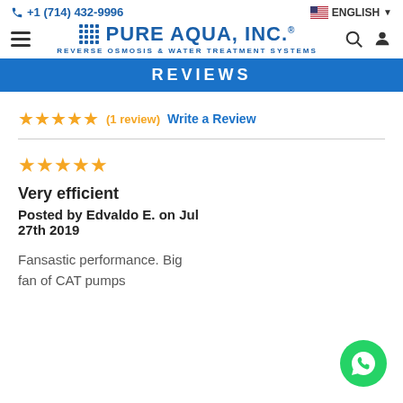+1 (714) 432-9996 | PURE AQUA, INC. REVERSE OSMOSIS & WATER TREATMENT SYSTEMS | ENGLISH
[Figure (screenshot): Blue banner with partial text REVIEWS]
★★★★★ (1 review)   Write a Review
★★★★★
Very efficient
Posted by Edvaldo E. on Jul 27th 2019

Fansastic performance. Big fan of CAT pumps
[Figure (logo): WhatsApp green circle button icon in bottom right corner]